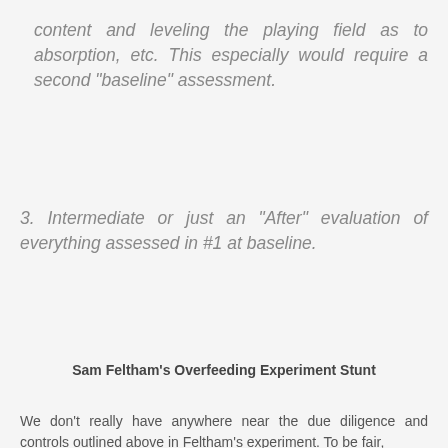content and leveling the playing field as to absorption, etc. This especially would require a second "baseline" assessment.
3. Intermediate or just an "After" evaluation of everything assessed in #1 at baseline.
Sam Feltham's Overfeeding Experiment Stunt
We don't really have anywhere near the due diligence and controls outlined above in Feltham's experiment. To be fair,